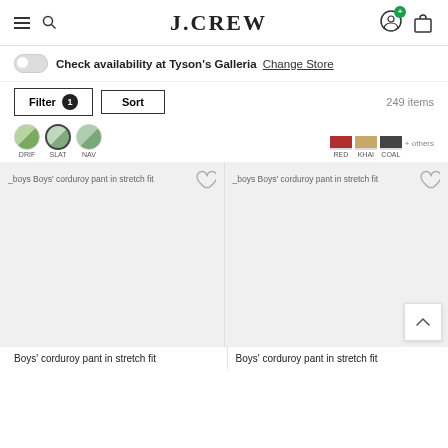J.CREW
Check availability at Tyson's Galleria Change Store
Filter 1  Sort  249 items
[Figure (screenshot): Color swatches: DRIF, SLAT (selected), NAVY, RED, KHAKI, COAL, + others]
[Figure (photo): Boys' corduroy pant in stretch fit - left product card with broken image placeholder]
[Figure (photo): Boys' corduroy pant in stretch fit - right product card with broken image placeholder]
Boys' corduroy pant in stretch fit
Boys' corduroy pant in stretch fit